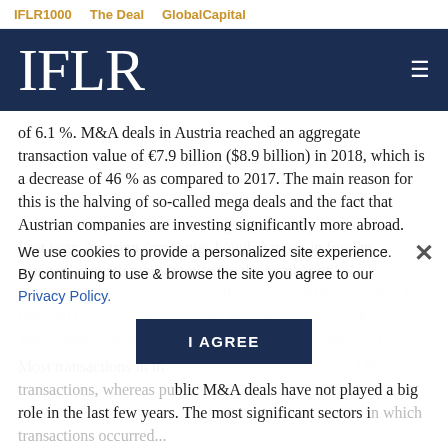IFLR1000   The Deal   GlobalCapital
IFLR
of 6.1 %. M&A deals in Austria reached an aggregate transaction value of €7.9 billion ($8.9 billion) in 2018, which is a decrease of 46 % as compared to 2017. The main reason for this is the halving of so-called mega deals and the fact that Austrian companies are investing significantly more abroad. Last year, Austrian companies bought targets in foreign companies much more frequently: the number of takeovers in the outbound category rose significantly in 2018 by 32.9%. The inbound takeovers, however, declined by (16.4%). While public M&A deals suffered, the domestic decline was larger: 29...
Most transactions in the Austrian market are private M&A transactions, whereas public M&A deals have not played a big role in the last few years. The most significant sectors in which transactions occurred...
We use cookies to provide a personalized site experience. By continuing to use & browse the site you agree to our Privacy Policy.